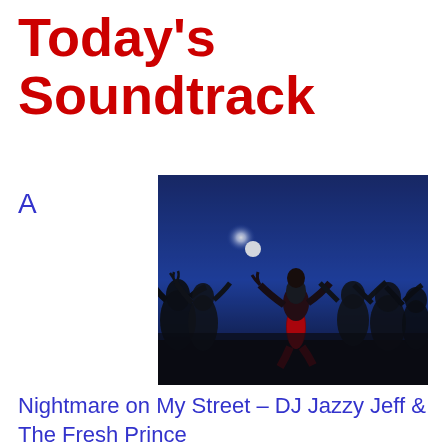Today's Soundtrack
A
[Figure (photo): Dark nighttime scene with a group of costumed dancers or monsters in silhouette, one central figure wearing red pants dancing energetically under a bright light or moon, reminiscent of a Michael Jackson Thriller-style music video.]
Nightmare on My Street – DJ Jazzy Jeff & The Fresh Prince